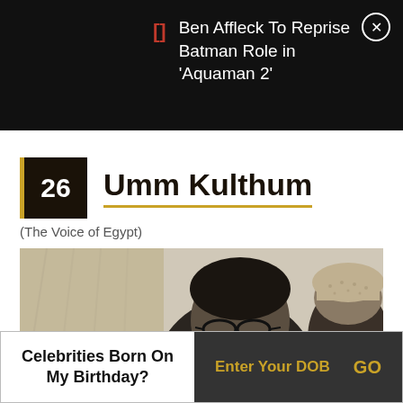Ben Affleck To Reprise Batman Role in 'Aquaman 2'
26 Umm Kulthum
(The Voice of Egypt)
[Figure (photo): Black and white photograph of Umm Kulthum wearing glasses, with another person visible behind her]
Celebrities Born On My Birthday? Enter Your DOB GO